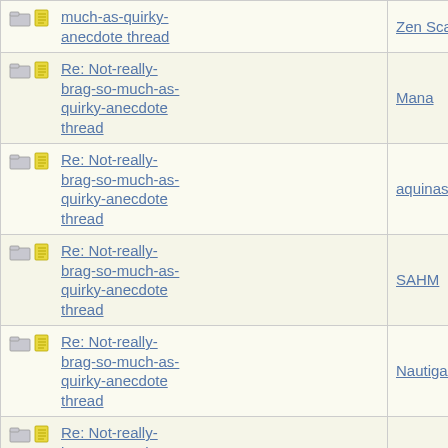| Thread | Author |
| --- | --- |
| [icons] Re: Not-really-brag-so-much-as-quirky-anecdote thread | Zen Sca... |
| [icons] Re: Not-really-brag-so-much-as-quirky-anecdote thread | Mana |
| [icons] Re: Not-really-brag-so-much-as-quirky-anecdote thread | aquinas |
| [icons] Re: Not-really-brag-so-much-as-quirky-anecdote thread | SAHM |
| [icons] Re: Not-really-brag-so-much-as-quirky-anecdote thread | Nautigal |
| [icons] Re: Not-really-brag-so-much-as-quirky-anecdote thread | Chana |
| [icons] Re: Not-really-brag-so-much-as-quirky-anecdote thread | Mana |